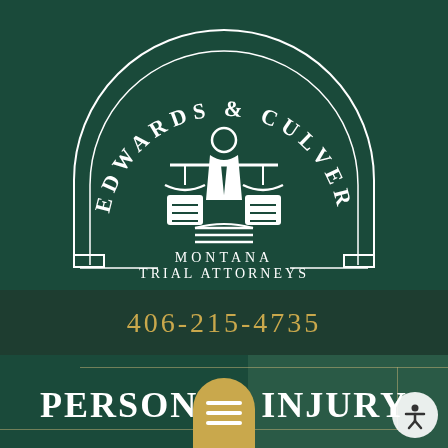[Figure (logo): Edwards & Culver Montana Trial Attorneys logo. Dark green semicircle background with white arched text 'EDWARDS & CULVER' along the top curve, a scales of justice icon with a suited figure in the center, and 'MONTANA TRIAL ATTORNEYS' text below on a banner. Decorative arch border.]
406-215-4735
[Figure (screenshot): Bottom section showing 'PERSONAL INJURY' text in white on dark green background, with a notification badge avatar circle (woman's photo) in top-left with red badge showing '1', a gold hamburger menu button at bottom center, and an accessibility icon button at bottom right.]